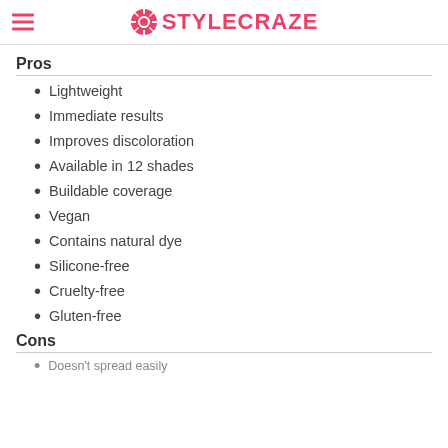STYLECRAZE
Pros
Lightweight
Immediate results
Improves discoloration
Available in 12 shades
Buildable coverage
Vegan
Contains natural dye
Silicone-free
Cruelty-free
Gluten-free
Cons
Doesn't spread easily